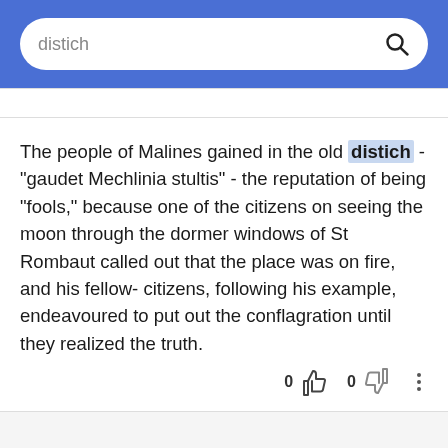distich
The people of Malines gained in the old distich - "gaudet Mechlinia stultis" - the reputation of being "fools," because one of the citizens on seeing the moon through the dormer windows of St Rombaut called out that the place was on fire, and his fellow-citizens, following his example, endeavoured to put out the conflagration until they realized the truth.
0  0